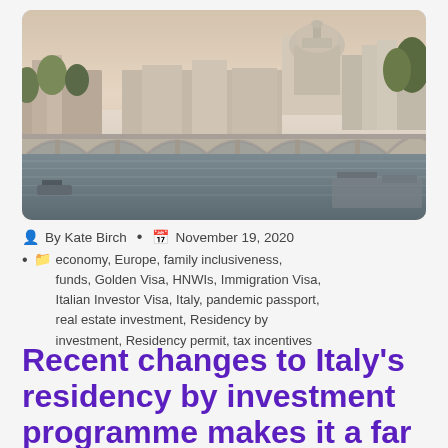[Figure (photo): Aerial view of Rome with Ponte Sant'Angelo bridge over the Tiber River, with St. Peter's Basilica dome visible in the background. The image shows multiple arched bridge spans, the river below, and classical Roman architecture including domes and historic buildings.]
By Kate Birch • November 19, 2020
economy, Europe, family inclusiveness, funds, Golden Visa, HNWIs, Immigration Visa, Italian Investor Visa, Italy, pandemic passport, real estate investment, Residency by investment, Residency permit, tax incentives
Recent changes to Italy's residency by investment programme makes it a far